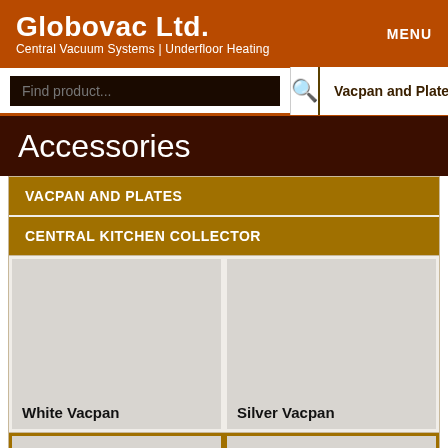Globovac Ltd. Central Vacuum Systems | Underfloor Heating MENU
Find product... [search icon] Vacpan and Plates
Accessories
VACPAN AND PLATES
CENTRAL KITCHEN COLLECTOR
White Vacpan
Silver Vacpan